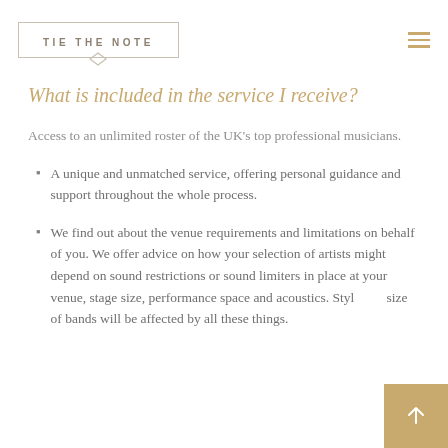TIE THE NOTE
What is included in the service I receive?
Access to an unlimited roster of the UK's top professional musicians.
A unique and unmatched service, offering personal guidance and support throughout the whole process.
We find out about the venue requirements and limitations on behalf of you. We offer advice on how your selection of artists might depend on sound restrictions or sound limiters in place at your venue, stage size, performance space and acoustics. Style and size of bands will be affected by all these things.